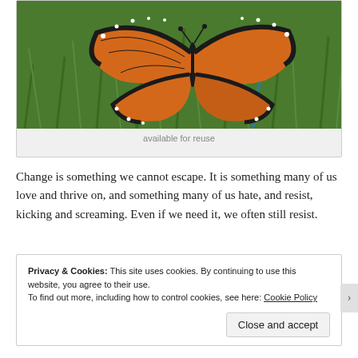[Figure (photo): Close-up photo of a monarch butterfly (orange and black wings with white spots) resting on a yellow flower, with green grass in the background]
available for reuse
Change is something we cannot escape. It is something many of us love and thrive on, and something many of us hate, and resist, kicking and screaming. Even if we need it, we often still resist.
Privacy & Cookies: This site uses cookies. By continuing to use this website, you agree to their use.
To find out more, including how to control cookies, see here: Cookie Policy
Close and accept